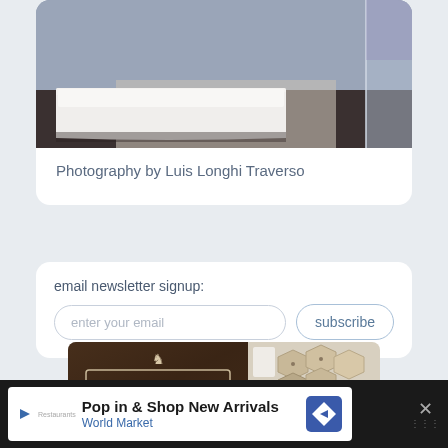[Figure (photo): Bedroom interior photo showing a white bed with white linen, dark wood floor, and glass panel wall. Photography by Luis Longhi Traverso.]
Photography by Luis Longhi Traverso
email newsletter signup:
enter your email
subscribe
[Figure (logo): Ewart Woods - Wood design logo on dark wood background, alongside hexagonal wooden tray products]
Pop in & Shop New Arrivals
World Market